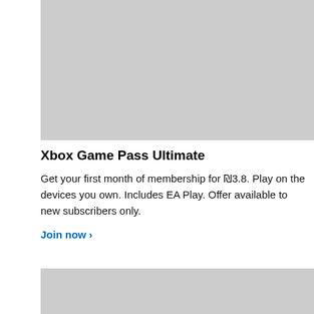[Figure (photo): Gray placeholder image at the top of the page]
Xbox Game Pass Ultimate
Get your first month of membership for ₪3.8. Play on the devices you own. Includes EA Play. Offer available to new subscribers only.
Join now >
[Figure (photo): Gray placeholder image at the bottom of the page]